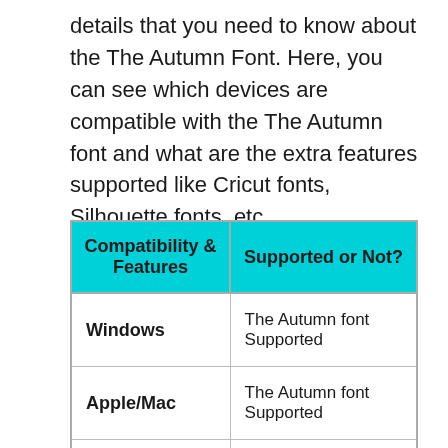details that you need to know about the The Autumn Font. Here, you can see which devices are compatible with the The Autumn font and what are the extra features supported like Cricut fonts, Silhouette fonts, etc.
| Compatibility & Features | Supported or Not? |
| --- | --- |
| Windows | The Autumn font Supported |
| Apple/Mac | The Autumn font Supported |
| Linux | The Autumn font |